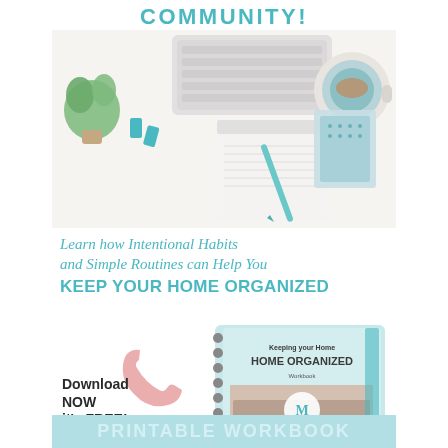COMMUNITY!
[Figure (photo): Flat-lay desk photo with keyboard, notebook, teal pen, binder clips, coffee cup, and plant on white fluffy surface]
Learn how Intentional Habits and Simple Routines can Help You KEEP YOUR HOME ORGANIZED
[Figure (photo): Spiral-bound workbook titled 'Keeping your Home ORGANIZED Workbook' with teal cover and home interior image, shown with pink phone icon and Download NOW it's FREE! text]
Download NOW it's FREE!
PRINTABLE WORKBOOK